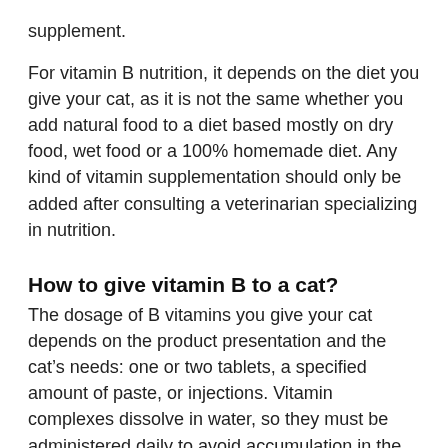supplement.
For vitamin B nutrition, it depends on the diet you give your cat, as it is not the same whether you add natural food to a diet based mostly on dry food, wet food or a 100% homemade diet. Any kind of vitamin supplementation should only be added after consulting a veterinarian specializing in nutrition.
How to give vitamin B to a cat?
The dosage of B vitamins you give your cat depends on the product presentation and the cat’s needs: one or two tablets, a specified amount of paste, or injections. Vitamin complexes dissolve in water, so they must be administered daily to avoid accumulation in the cat’s body.
For cats with cognitive impairment, you can opt for a B vitamin supplement that also contains L-carnitine and L-